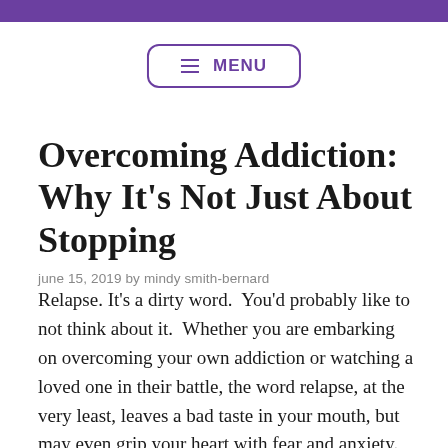Overcoming Addiction: Why It's Not Just About Stopping
june 15, 2019 by mindy smith-bernard
Relapse. It's a dirty word.  You'd probably like to not think about it.  Whether you are embarking on overcoming your own addiction or watching a loved one in their battle, the word relapse, at the very least, leaves a bad taste in your mouth, but may even grip your heart with fear and anxiety.